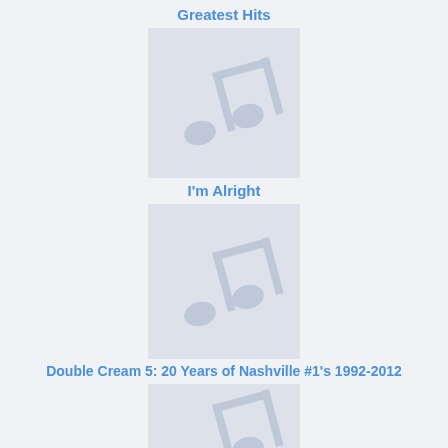Greatest Hits
[Figure (illustration): Music note placeholder image for album Greatest Hits]
I'm Alright
[Figure (illustration): Music note placeholder image for album I'm Alright]
Double Cream 5: 20 Years of Nashville #1's 1992-2012
[Figure (illustration): Music note placeholder image for album Double Cream 5]